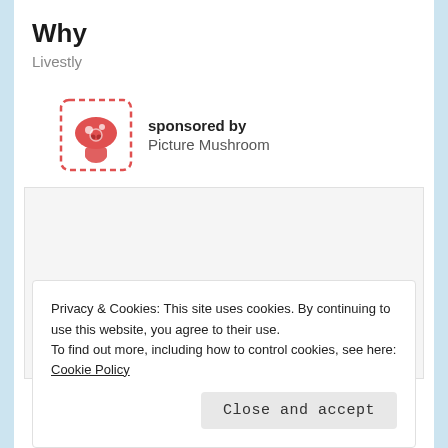Why
Livestly
sponsored by
Picture Mushroom
[Figure (other): Advertisement placeholder box, light gray background with border]
Privacy & Cookies: This site uses cookies. By continuing to use this website, you agree to their use.
To find out more, including how to control cookies, see here: Cookie Policy
Close and accept